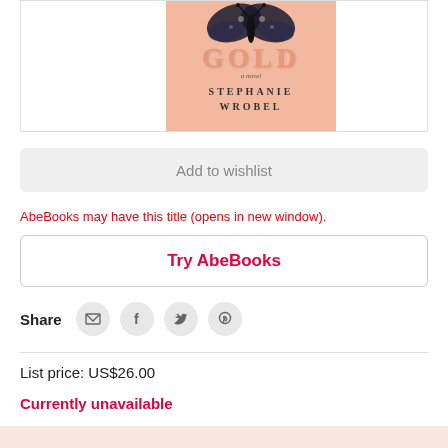[Figure (photo): Book cover for 'Gold: A Novel' by Stephanie Wrobel, featuring pink/peach background with a butterfly and decorative lettering]
Add to wishlist
AbeBooks may have this title (opens in new window).
Try AbeBooks
Share
List price: US$26.00
Currently unavailable